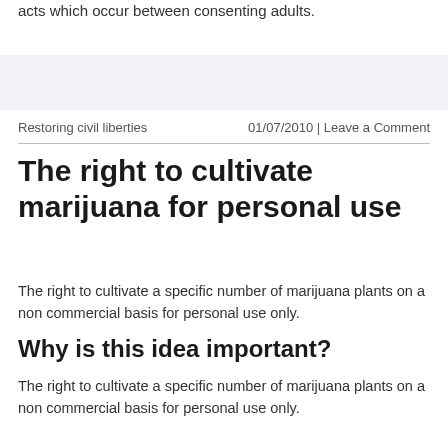acts which occur between consenting adults.
Restoring civil liberties     01/07/2010 | Leave a Comment
The right to cultivate marijuana for personal use
The right to cultivate a specific number of marijuana plants on a non commercial basis for personal use only.
Why is this idea important?
The right to cultivate a specific number of marijuana plants on a non commercial basis for personal use only.